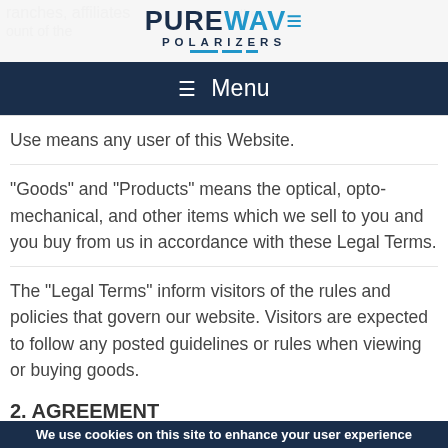PUREWAVE POLARIZERS
≡ Menu
Use means any user of this Website.
"Goods" and "Products" means the optical, opto-mechanical, and other items which we sell to you and you buy from us in accordance with these Legal Terms.
The "Legal Terms" inform visitors of the rules and policies that govern our website. Visitors are expected to follow any posted guidelines or rules when viewing or buying goods.
2. AGREEMENT
Access to and use of this Website and the information, materials, and services available through this Website are
We use cookies on this site to enhance your user experience